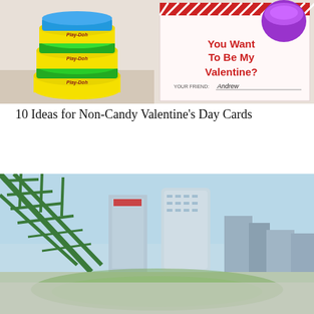[Figure (photo): Photo of colorful Play-Doh containers stacked on the left (yellow, green, blue) and a valentine card on the right reading 'You Want To Be My Valentine? YOUR FRIEND: Andrew' with a purple Play-Doh lid at top]
10 Ideas for Non-Candy Valentine's Day Cards
[Figure (photo): Photo of a city skyline (appears to be Tampa, FL) showing tall modern buildings including a cylindrical skyscraper, viewed through green metal bridge structure in the foreground, with a stadium visible at the bottom]